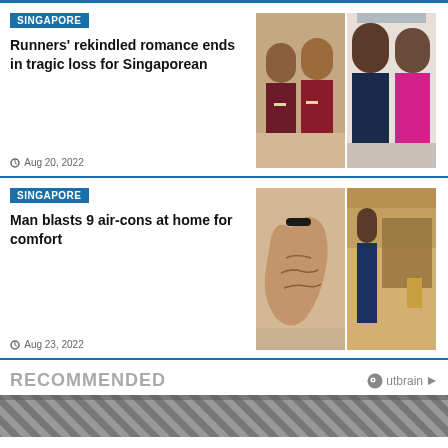SINGAPORE
Runners' rekindled romance ends in tragic loss for Singaporean
Aug 20, 2022
[Figure (photo): Two photos side by side: left shows two young runners with medals in old photo; right shows a man in navy shirt and woman in pink shirt]
SINGAPORE
Man blasts 9 air-cons at home for comfort
Aug 23, 2022
[Figure (photo): Two photos side by side: left shows a close-up of an open hand/palm; right shows a person kneeling in a room]
RECOMMENDED
[Figure (photo): Strip image at bottom showing a diagonal striped pattern, partial view]